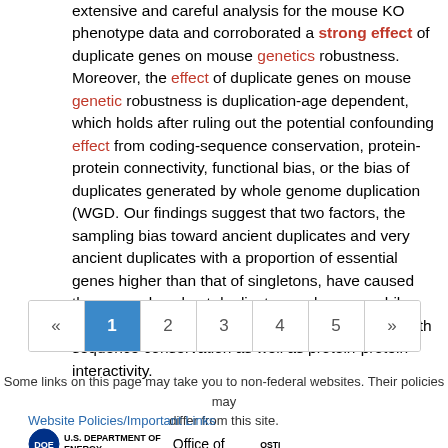extensive and careful analysis for the mouse KO phenotype data and corroborated a strong effect of duplicate genes on mouse genetics robustness. Moreover, the effect of duplicate genes on mouse genetic robustness is duplication-age dependent, which holds after ruling out the potential confounding effect from coding-sequence conservation, protein-protein connectivity, functional bias, or the bias of duplicates generated by whole genome duplication (WGD. Our findings suggest that two factors, the sampling bias toward ancient duplicates and very ancient duplicates with a proportion of essential genes higher than that of singletons, have caused the mouse knockout duplicate puzzle; meanwhile, the effect of genetic buffering may be correlated with sequence conservation as well as protein-protein interactivity.
[Figure (other): Pagination navigation bar showing pages: « 1 2 3 4 5 » with page 1 highlighted in blue]
Some links on this page may take you to non-federal websites. Their policies may differ from this site.
Website Policies/Important Links
[Figure (logo): U.S. Department of Energy logo and Office of text, plus OSTI logo]